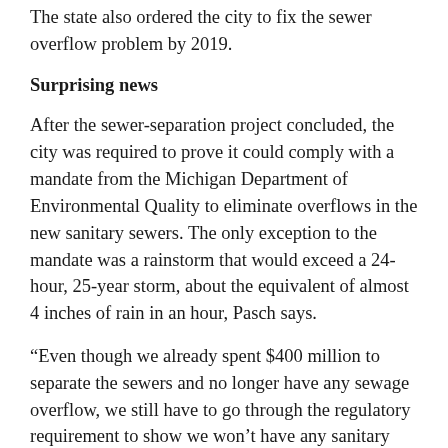The state also ordered the city to fix the sewer overflow problem by 2019.
Surprising news
After the sewer-separation project concluded, the city was required to prove it could comply with a mandate from the Michigan Department of Environmental Quality to eliminate overflows in the new sanitary sewers. The only exception to the mandate was a rainstorm that would exceed a 24-hour, 25-year storm, about the equivalent of almost 4 inches of rain in an hour, Pasch says.
“Even though we already spent $400 million to separate the sewers and no longer have any sewage overflow, we still have to go through the regulatory requirement to show we won’t have any sanitary system overflows,” Pasch explains.